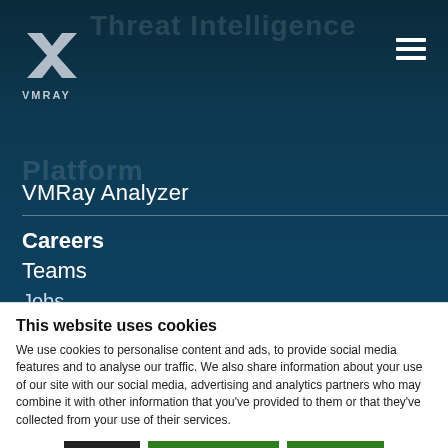[Figure (logo): VMRay logo with X-shaped icon and VMRAY text, on dark teal navigation header background with 'Threat Intelligence' and 'Platform' watermark text. Hamburger menu icon top right.]
VMRay Analyzer
Careers
Teams
Jobs
This website uses cookies
We use cookies to personalise content and ads, to provide social media features and to analyse our traffic. We also share information about your use of our site with our social media, advertising and analytics partners who may combine it with other information that you've provided to them or that they've collected from your use of their services.
Deny | Allow selection | Allow all
Necessary  Preferences  Statistics  Marketing  Show details